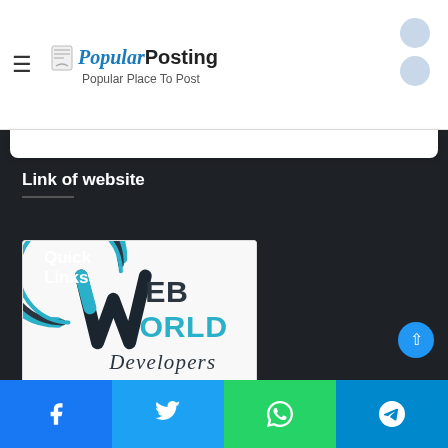Popular Posting — Popular Place To Post
Link of website
[Figure (logo): Web World Developers logo — circular teal/dark swirl with stylized 'W', text 'EB ORLD Developers', tagline 'Design, Development, Marketing']
Quick Links
Facebook | Twitter | WhatsApp | Telegram share buttons